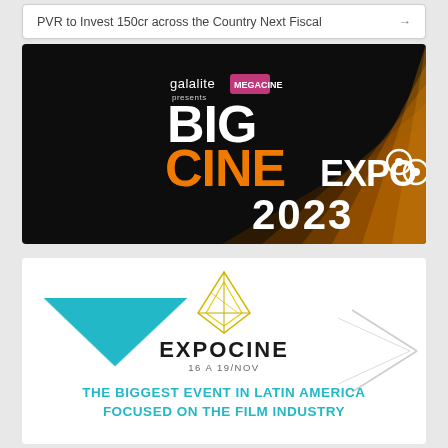PVR to Invest 150cr across the Country Next Fiscal →
[Figure (illustration): Big Cine Expo 2023 promotional banner. Dark background with diagonal golden streaks. Galalite logo at top with 'presents' text. 'BIG' in large white bold text. 'CINE' in large orange bold text. 'EXPO' in white with film reel icons. '2023' in large white bold text below.]
[Figure (illustration): ExpoCine promotional banner. White background with teal triangular arrow shape on left, geometric diamond/star logo in center top, 'EXPOCINE' text in black below logo, '16 A 19/NOV' in smaller text, and 'THE BIGGEST EVENT IN LATIN AMERICA FOCUSED ON THE FILM INDUSTRY' in bold teal/cyan uppercase text at bottom. Light gray decorative arrows on right side.]